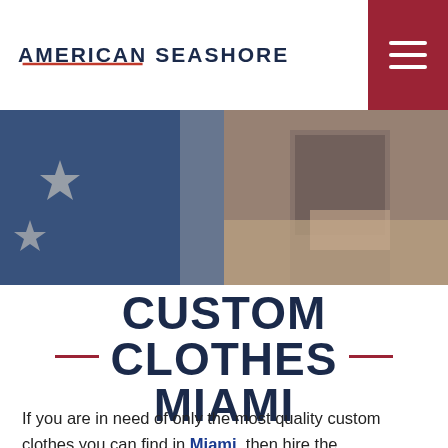AMERICAN SEASHORE
[Figure (photo): Banner image showing two photos: left side shows a denim jacket with white stars on a blue background (American flag style); right side shows a woman in a plaid shirt working with fabric/cardboard on a table.]
CUSTOM CLOTHES MIAMI
If you are in need of only the most quality custom clothes you can find in Miami, then hire the